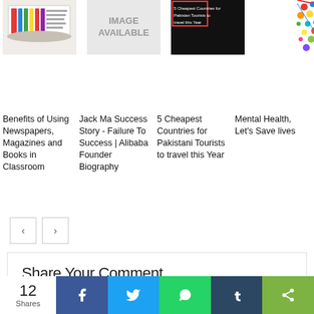[Figure (photo): Thumbnail of stacked newspapers]
Benefits of Using Newspapers, Magazines and Books in Classroom
[Figure (photo): No image available placeholder]
Jack Ma Success Story - Failure To Success | Alibaba Founder Biography
[Figure (photo): 5 Cheapest Countries for Pakistani Tourists thumbnail]
5 Cheapest Countries for Pakistani Tourists to travel this Year
[Figure (photo): Mental Health colorful illustration thumbnail]
Mental Health, Let's Save lives
< >
Share Your Comment
12 Shares